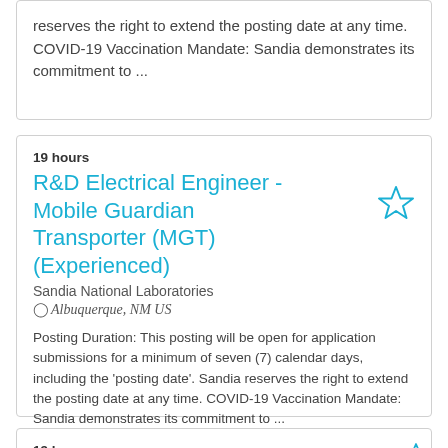reserves the right to extend the posting date at any time. COVID-19 Vaccination Mandate: Sandia demonstrates its commitment to ...
19 hours
R&D Electrical Engineer - Mobile Guardian Transporter (MGT) (Experienced)
Sandia National Laboratories
Albuquerque, NM US
Posting Duration: This posting will be open for application submissions for a minimum of seven (7) calendar days, including the 'posting date'. Sandia reserves the right to extend the posting date at any time. COVID-19 Vaccination Mandate: Sandia demonstrates its commitment to ...
19 hours